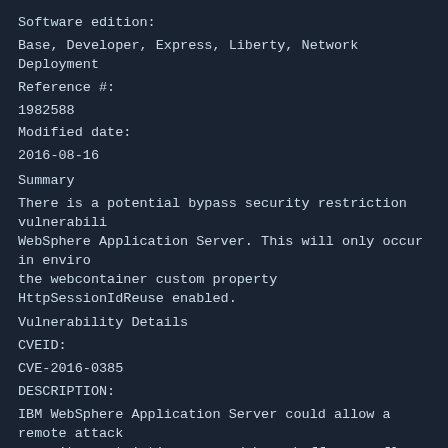Software edition:
Base, Developer, Express, Liberty, Network Deployment
Reference #:
1982588
Modified date:
2016-08-16
Summary
There is a potential bypass security restriction vulnerabili WebSphere Application Server. This will only occur in enviro the webcontainer custom property HttpSessionIdReuse enabled.
Vulnerability Details
CVEID:
CVE-2016-0385
DESCRIPTION:
IBM WebSphere Application Server could allow a remote attack security restrictions caused by a buffer overflow. This coul attacker to view unauthorized data.
CVSS Base Score: 3.1